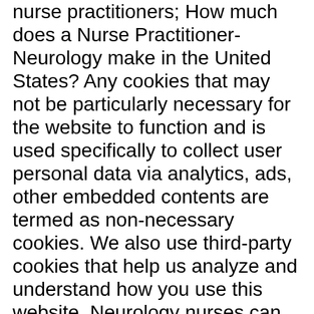nurse practitioners​; How much does a Nurse Practitioner-Neurology make in the United States? Any cookies that may not be particularly necessary for the website to function and is used specifically to collect user personal data via analytics, ads, other embedded contents are termed as non-necessary cookies. We also use third-party cookies that help us analyze and understand how you use this website. Neurology nurses can seek employment in intensive rehabilitation units, healthcare clinics, neurological departments in hospitals, and neurological wings in trauma centers. Becoming a Neuroscience Nurse. Molly is a neurosurgery nurse at the Royal London Hospital. But opting out of some of these cookies may have an effect on your browsing experience. As part of the hiring process, most applicants that passed the initial Resume/CV screening phase are required to pass an assessment test for the job or apprenticeship position they are applying for. (adsbygoogle = window.adsbygoogle || []).push({}); You may need to pass a job test to be hired for a position, improve your chances of getting hired at a ...